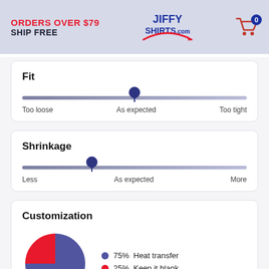ORDERS OVER $79 SHIP FREE | JIFFY SHIRTS.COM | Cart: 0
Fit
[Figure (infographic): Horizontal slider showing Fit rating. Pin positioned at center (As expected). Labels: Too loose, As expected, Too tight.]
Shrinkage
[Figure (infographic): Horizontal slider showing Shrinkage rating. Pin positioned slightly left of center. Labels: Less, As expected, More.]
Customization
[Figure (pie-chart): Customization]